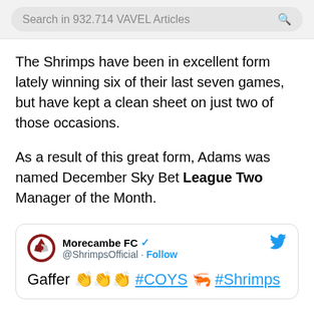Search in 932.714 VAVEL Articles
The Shrimps have been in excellent form lately winning six of their last seven games, but have kept a clean sheet on just two of those occasions.
As a result of this great form, Adams was named December Sky Bet League Two Manager of the Month.
[Figure (screenshot): Embedded tweet from Morecambe FC @ShrimpsOfficial with text: Gaffer 👏👏👏 #COYS 🦐 #Shrimps]